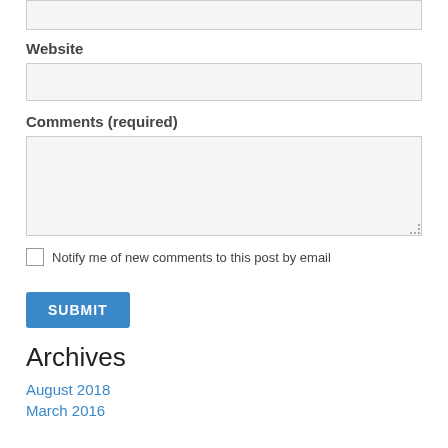[Figure (screenshot): Top portion of a web form input field (text input, empty, light grey background)]
Website
[Figure (screenshot): Website text input field, empty, light grey background]
Comments (required)
[Figure (screenshot): Comments textarea, empty, light grey background, resizable]
Notify me of new comments to this post by email
[Figure (screenshot): Submit button, blue background, white uppercase text SUBMIT]
Archives
August 2018
March 2016